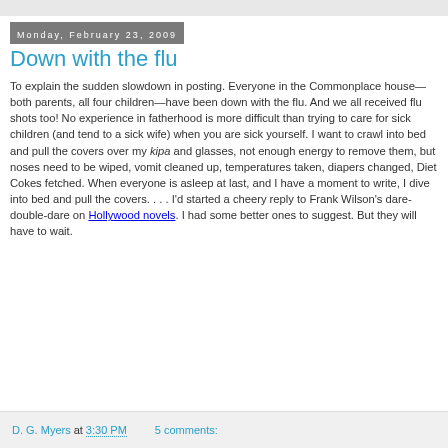Monday, February 23, 2009
Down with the flu
To explain the sudden slowdown in posting. Everyone in the Commonplace house—both parents, all four children—have been down with the flu. And we all received flu shots too! No experience in fatherhood is more difficult than trying to care for sick children (and tend to a sick wife) when you are sick yourself. I want to crawl into bed and pull the covers over my kipa and glasses, not enough energy to remove them, but noses need to be wiped, vomit cleaned up, temperatures taken, diapers changed, Diet Cokes fetched. When everyone is asleep at last, and I have a moment to write, I dive into bed and pull the covers. . . . I'd started a cheery reply to Frank Wilson's dare-double-dare on Hollywood novels. I had some better ones to suggest. But they will have to wait.
D. G. Myers at 3:30 PM   5 comments: